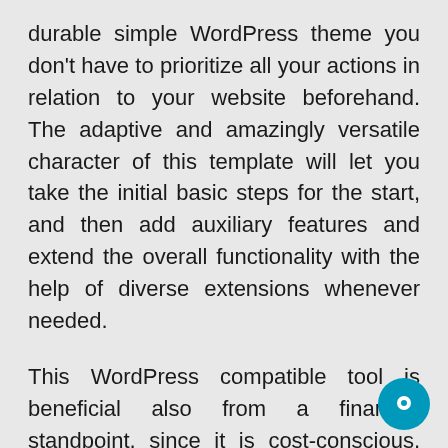durable simple WordPress theme you don't have to prioritize all your actions in relation to your website beforehand. The adaptive and amazingly versatile character of this template will let you take the initial basic steps for the start, and then add auxiliary features and extend the overall functionality with the help of diverse extensions whenever needed.
This WordPress compatible tool is beneficial also from a financial standpoint, since it is cost-conscious, thus being highly desirable for small or medium sized businesses and an average person operating and working on a limited budget. Apart from its acquisition, further com...